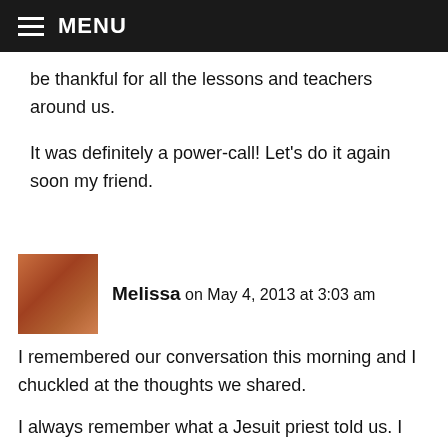MENU
be thankful for all the lessons and teachers around us.

It was definitely a power-call! Let's do it again soon my friend.
Melissa on May 4, 2013 at 3:03 am

I remembered our conversation this morning and I chuckled at the thoughts we shared.

I always remember what a Jesuit priest told us. I remembered because he drew an arrow while trying to